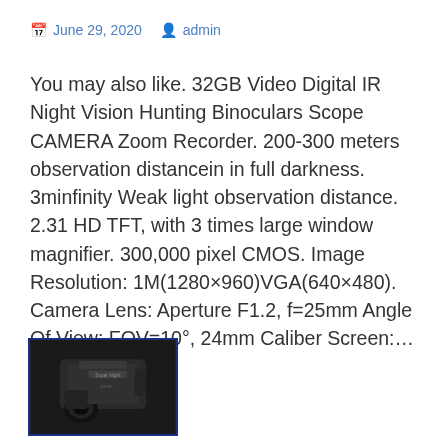June 29, 2020  admin
You may also like. 32GB Video Digital IR Night Vision Hunting Binoculars Scope CAMERA Zoom Recorder. 200-300 meters observation distancein in full darkness. 3minfinity Weak light observation distance. 2.31 HD TFT, with 3 times large window magnifier. 300,000 pixel CMOS. Image Resolution: 1M(1280×960)VGA(640×480). Camera Lens: Aperture F1.2, f=25mm Angle Of View: FOV=10°, 24mm Caliber Screen:… Read more →
[Figure (photo): Night vision hunting binoculars scope camera product photo, dark colored device against dark background, shown in a box with dark blue border]